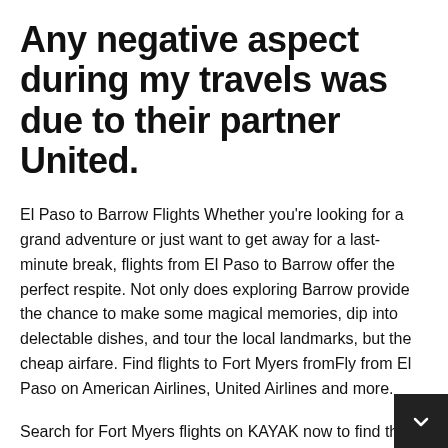Any negative aspect during my travels was due to their partner United.
El Paso to Barrow Flights Whether you're looking for a grand adventure or just want to get away for a last-minute break, flights from El Paso to Barrow offer the perfect respite. Not only does exploring Barrow provide the chance to make some magical memories, dip into delectable dishes, and tour the local landmarks, but the cheap airfare. Find flights to Fort Myers fromFly from El Paso on American Airlines, United Airlines and more.
Search for Fort Myers flights on KAYAK now to find the best deal. Traveling 1, mi between El Paso Intl. Airport (ELP) and El Paso Intl. Airport (ELP) calls for a glass of red and some good movies. Lean back, pull a blanket over your lap and simply enjoy the flight. What airlines fly from El Paso, TX Airport (ELP-El Paso Intl.) to. Whether you're looking for a grand adventure or just